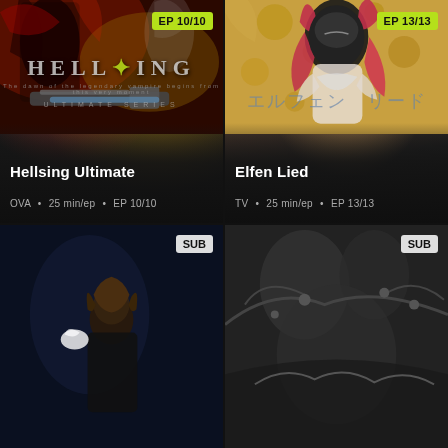[Figure (screenshot): Hellsing Ultimate anime card with dark red/gold artwork showing a figure with a large gun, Hellsing logo, EP 10/10 badge, title and metadata]
[Figure (screenshot): Elfen Lied anime card with golden art nouveau background and pink-haired character, Japanese title text, EP 13/13 badge, title and metadata]
[Figure (screenshot): Bottom-left anime card with dark blue tones, female character with dark hair, SUB badge]
[Figure (screenshot): Bottom-right anime card with dark grey tones, black and white style art, SUB badge]